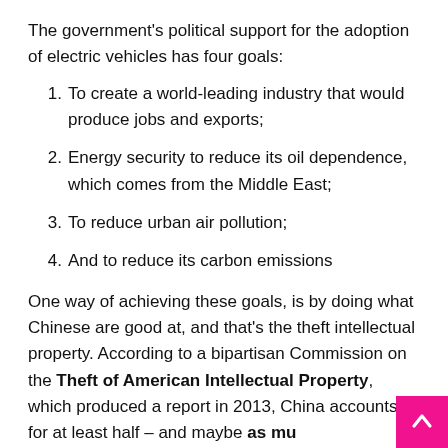The government's political support for the adoption of electric vehicles has four goals:
To create a world-leading industry that would produce jobs and exports;
Energy security to reduce its oil dependence, which comes from the Middle East;
To reduce urban air pollution;
And to reduce its carbon emissions
One way of achieving these goals, is by doing what Chinese are good at, and that's the theft intellectual property. According to a bipartisan Commission on the Theft of American Intellectual Property, which produced a report in 2013, China accounts for at least half – and maybe as mu…